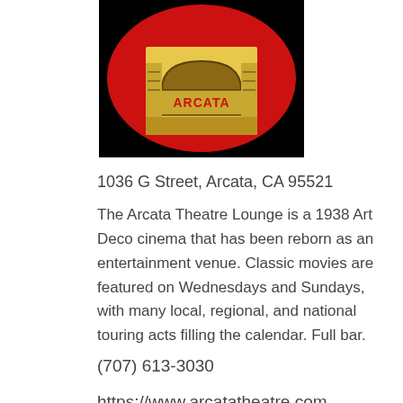[Figure (logo): Arcata Theatre Lounge logo: oval shape with red background, yellow art-deco theatre marquee illustration with 'ARCATA' text in red letters on a black surrounding]
1036 G Street, Arcata, CA 95521
The Arcata Theatre Lounge is a 1938 Art Deco cinema that has been reborn as an entertainment venue. Classic movies are featured on Wednesdays and Sundays, with many local, regional, and national touring acts filling the calendar. Full bar.
(707) 613-3030
https://www.arcatatheatre.com
Genre  Arts and Culture, Event Venues, Live Music Venues, Movie Theatres, Night Life
Tags  bands, concerts, downtown, full bar, libations, music, nightclub, nightlife, shows, things to do